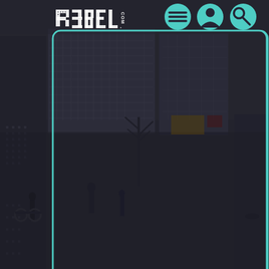[Figure (screenshot): Website screenshot of R3BEL.com showing a dark themed page with city/traffic background image. Header has the R3BEL.com logo on the left and three circular teal navigation icon buttons (hamburger menu, user profile, search) on the right. Below the header are two content cards with teal rounded-rectangle borders overlaid on a dimmed New York city street/traffic photograph. The first card is partially visible. A teal caption reads 'New York Traffic' beneath the first card. A second card begins at the bottom of the page.]
New York Traffic